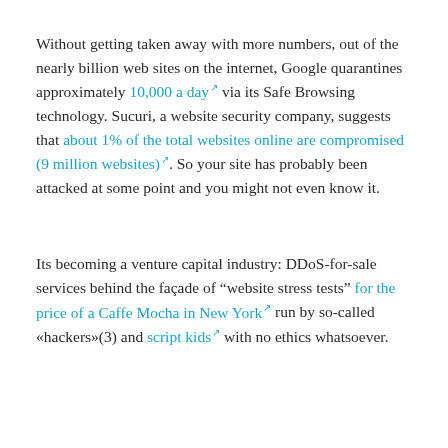Without getting taken away with more numbers, out of the nearly billion web sites on the internet, Google quarantines approximately 10,000 a day via its Safe Browsing technology. Sucuri, a website security company, suggests that about 1% of the total websites online are compromised (9 million websites). So your site has probably been attacked at some point and you might not even know it.
Its becoming a venture capital industry: DDoS-for-sale services behind the façade of "website stress tests" for the price of a Caffe Mocha in New York run by so-called «hackers»(3) and script kids with no ethics whatsoever.